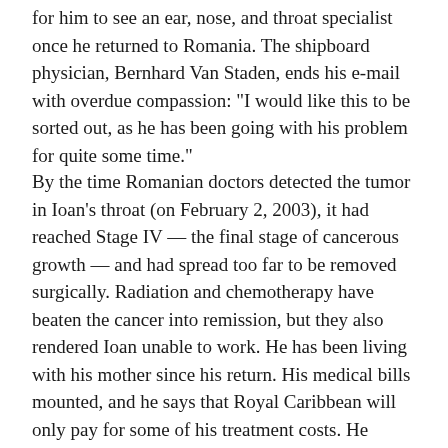for him to see an ear, nose, and throat specialist once he returned to Romania. The shipboard physician, Bernhard Van Staden, ends his e-mail with overdue compassion: "I would like this to be sorted out, as he has been going with his problem for quite some time."
By the time Romanian doctors detected the tumor in Ioan's throat (on February 2, 2003), it had reached Stage IV — the final stage of cancerous growth — and had spread too far to be removed surgically. Radiation and chemotherapy have beaten the cancer into remission, but they also rendered Ioan unable to work. He has been living with his mother since his return. His medical bills mounted, and he says that Royal Caribbean will only pay for some of his treatment costs. He retained Walker, and is suing for his living bills and all medical expenses from the time of his arrival in Romania. Royal Caribbean officials wouldn't